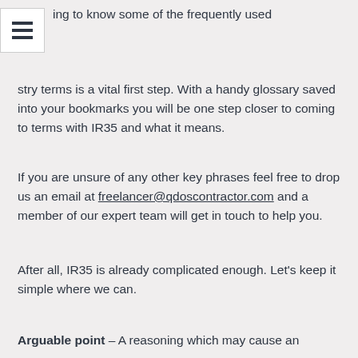ing to know some of the frequently used stry terms is a vital first step. With a handy glossary saved into your bookmarks you will be one step closer to coming to terms with IR35 and what it means.
If you are unsure of any other key phrases feel free to drop us an email at freelancer@qdoscontractor.com and a member of our expert team will get in touch to help you.
After all, IR35 is already complicated enough. Let's keep it simple where we can.
Arguable point – A reasoning which may cause an